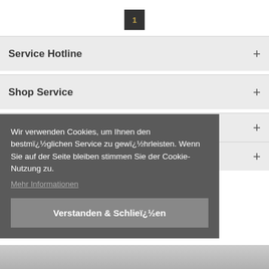1
Service Hotline +
Shop Service +
+
+
Wir verwenden Cookies, um Ihnen den bestmï¿½glichen Service zu gewï¿½hrleisten. Wenn Sie auf der Seite bleiben stimmen Sie der Cookie-Nutzung zu.
Mehr Informationen
Verstanden & Schlieï¿½en